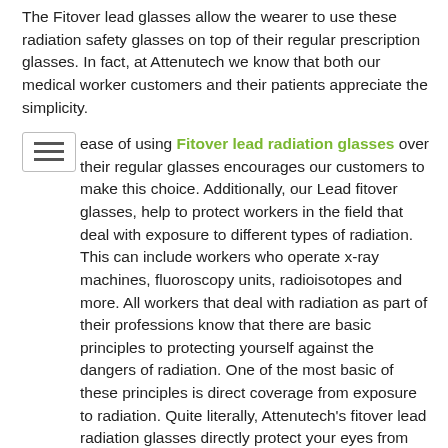The Fitover lead glasses allow the wearer to use these radiation safety glasses on top of their regular prescription glasses. In fact, at Attenutech we know that both our medical worker customers and their patients appreciate the simplicity.
☰ ease of using Fitover lead radiation glasses over their regular glasses encourages our customers to make this choice. Additionally, our Lead fitover glasses, help to protect workers in the field that deal with exposure to different types of radiation. This can include workers who operate x-ray machines, fluoroscopy units, radioisotopes and more. All workers that deal with radiation as part of their professions know that there are basic principles to protecting yourself against the dangers of radiation. One of the most basic of these principles is direct coverage from exposure to radiation. Quite literally, Attenutech's fitover lead radiation glasses directly protect your eyes from radiation.
Also, they protect your vision from the harmful effects of radiation. They do this at the same level of protection as our regular radiation